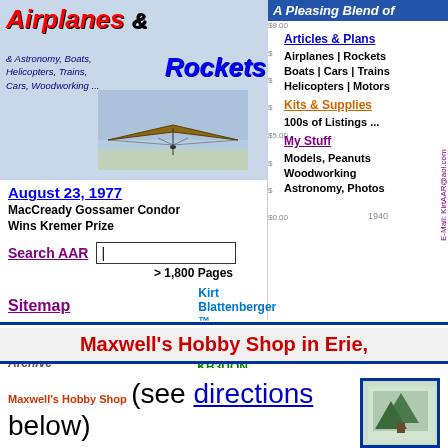[Figure (screenshot): Airplanes & Rockets website header banner with hang glider image, showing site title 'Airplanes & Rockets' and subtitle listing astronomy, boats, helicopters, trains, cars, woodworking]
August 23, 1977
MacCready Gossamer Condor Wins Kremer Prize
Search AAR
> 1,800 Pages
Sitemap
Kirt Blattenberger ™
Homepage Archive
AMA 92498 | KB3UON
A Pleasing Blend of
Articles & Plans
Airplanes | Rockets
Boats | Cars | Trains
Helicopters | Motors
Kits & Supplies
100s of Listings ...
My Stuff
Models, Peanuts
Woodworking
Astronomy, Photos
E-Mail: KirtAAR@aol.com
Maxwell's Hobby Shop in Erie,
Maxwell's Hobby Shop (see directions below)
5914 Station Road